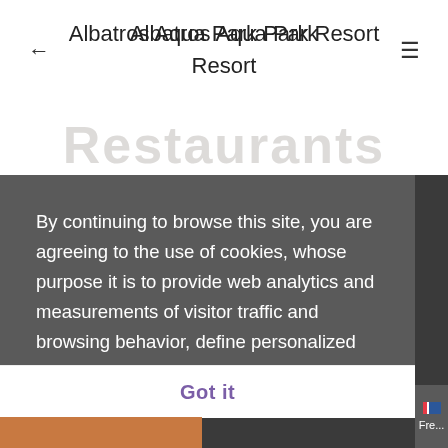Albatros Aqua Park Resort
Restaurants
By continuing to browse this site, you are agreeing to the use of cookies, whose purpose it is to provide web analytics and measurements of visitor traffic and browsing behavior, define personalized services and offers tailored to your interests, and share data with, or redirect users from, third-party websites. Learn more
Got it
Fre...